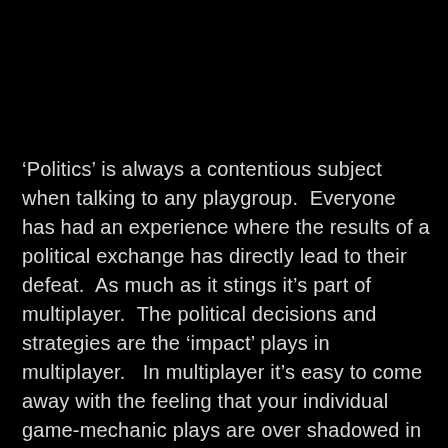‘Politics’ is always a contentious subject when talking to any playgroup.  Everyone has had an experience where the results of a political exchange has directly lead to their defeat.  As much as it stings it’s part of multiplayer.  The political decisions and strategies are the ‘impact’ plays in multiplayer.   In multiplayer it’s easy to come away with the feeling that your individual game-mechanic plays are over shadowed in the larger scheme, your carefully crafted hand and plan can fail randomly (not true).  When playing with multiple opponents you’re going to be faced with players with different strategies and goals, and in the wild west of eternal magic you (generally) cannot